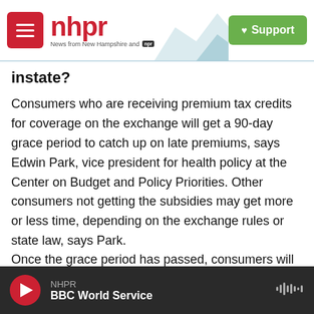[Figure (logo): NHPR (New Hampshire Public Radio) website header with hamburger menu icon, red NHPR logo, mountain/radio tower graphic, and green Support button]
instate?
Consumers who are receiving premium tax credits for coverage on the exchange will get a 90-day grace period to catch up on late premiums, says Edwin Park, vice president for health policy at the Center on Budget and Policy Priorities. Other consumers not getting the subsidies may get more or less time, depending on the exchange rules or state law, says Park.
Once the grace period has passed, consumers will generally have to wait until the next annual open
NHPR BBC World Service